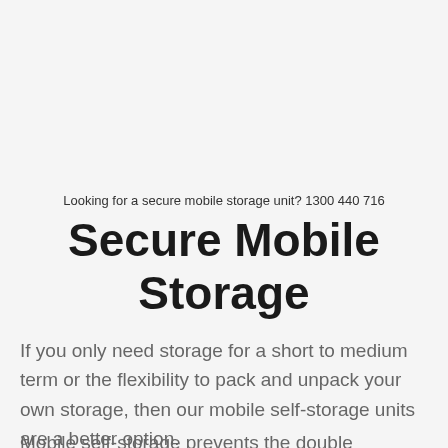Looking for a secure mobile storage unit? 1300 440 716
Secure Mobile Storage
If you only need storage for a short to medium term or the flexibility to pack and unpack your own storage, then our mobile self-storage units are a better option.
Mobile self-storage prevents the double